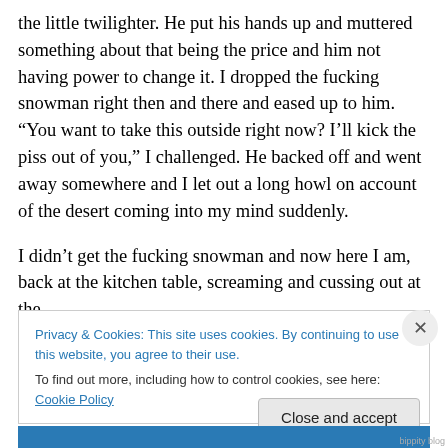the little twilighter. He put his hands up and muttered something about that being the price and him not having power to change it. I dropped the fucking snowman right then and there and eased up to him. “You want to take this outside right now? I’ll kick the piss out of you,” I challenged. He backed off and went away somewhere and I let out a long howl on account of the desert coming into my mind suddenly.
I didn’t get the fucking snowman and now here I am, back at the kitchen table, screaming and cussing out at the
Privacy & Cookies: This site uses cookies. By continuing to use this website, you agree to their use.
To find out more, including how to control cookies, see here: Cookie Policy
Close and accept